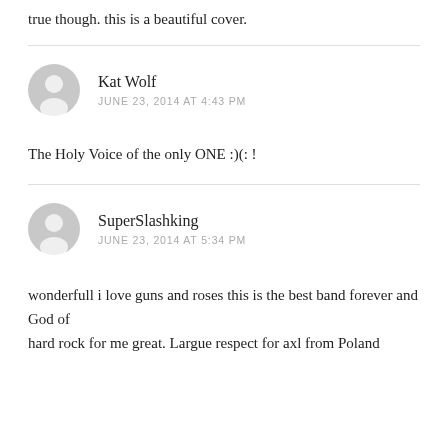true though. this is a beautiful cover.
Kat Wolf
JUNE 23, 2014 AT 4:43 PM
The Holy Voice of the only ONE :)(: !
SuperSlashking
JUNE 23, 2014 AT 5:34 PM
wonderfull i love guns and roses this is the best band forever and God of
hard rock for me great. Largue respect for axl from Poland